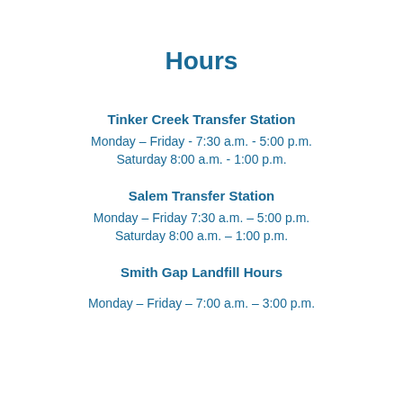Hours
Tinker Creek Transfer Station
Monday – Friday - 7:30 a.m. - 5:00 p.m.
Saturday  8:00 a.m. - 1:00 p.m.
Salem Transfer Station
Monday – Friday  7:30 a.m. – 5:00 p.m.
Saturday  8:00 a.m. – 1:00 p.m.
Smith Gap Landfill Hours
Monday – Friday – 7:00 a.m. – 3:00 p.m.